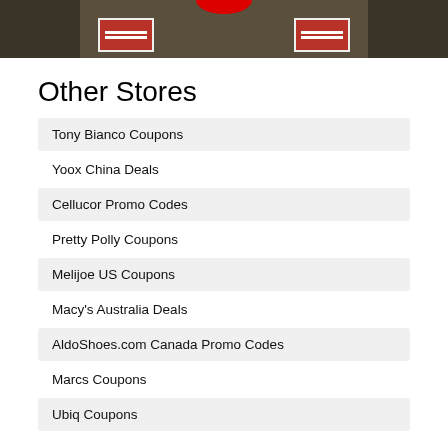[Figure (photo): Partial photo of a store front with red signs]
Other Stores
Tony Bianco Coupons
Yoox China Deals
Cellucor Promo Codes
Pretty Polly Coupons
Melijoe US Coupons
Macy's Australia Deals
AldoShoes.com Canada Promo Codes
Marcs Coupons
Ubiq Coupons